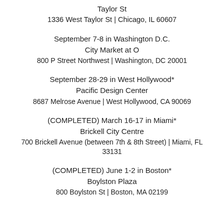Taylor St
1336 West Taylor St | Chicago, IL 60607
September 7-8 in Washington D.C.
City Market at O
800 P Street Northwest | Washington, DC 20001
September 28-29 in West Hollywood*
Pacific Design Center
8687 Melrose Avenue | West Hollywood, CA 90069
(COMPLETED) March 16-17 in Miami*
Brickell City Centre
700 Brickell Avenue (between 7th & 8th Street) | Miami, FL 33131
(COMPLETED) June 1-2 in Boston*
Boylston Plaza
800 Boylston St | Boston, MA 02199